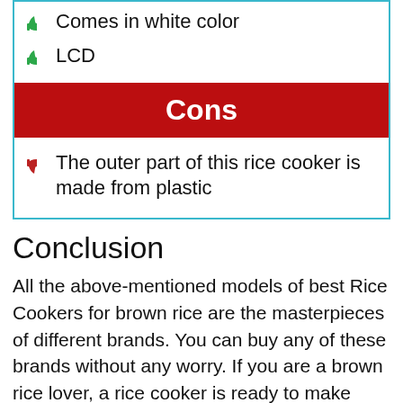Comes in white color
LCD
Cons
The outer part of this rice cooker is made from plastic
Conclusion
All the above-mentioned models of best Rice Cookers for brown rice are the masterpieces of different brands. You can buy any of these brands without any worry. If you are a brown rice lover, a rice cooker is ready to make your life more than easy. If not a single rice cooker doesn't catch your eye and if you